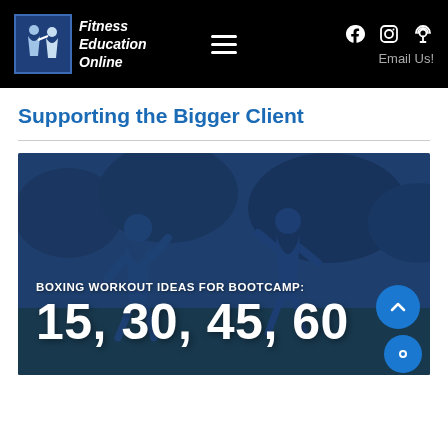[Figure (screenshot): Website header for Fitness Education Online with logo, hamburger menu, social media icons (Facebook, Instagram, Podcast), and Email Us text on black background]
Supporting the Bigger Client
[Figure (photo): Blue-tinted image of people doing boxing workout with text overlay: 'BOXING WORKOUT IDEAS FOR BOOTCAMP:' and large numbers '15, 30, 45, 60'. A blue scroll-up button overlaps the right side and a blue chat button is at bottom right.]